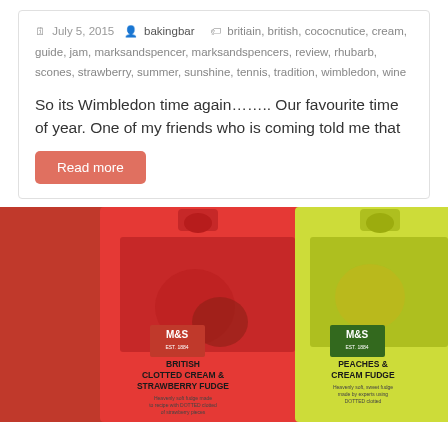July 5, 2015  bakingbar  britiain, british, cococnutice, cream, guide, jam, marksandspencer, marksandspencers, review, rhubarb, scones, strawberry, summer, sunshine, tennis, tradition, wimbledon, wine
So its Wimbledon time again........ Our favourite time of year. One of my friends who is coming told me that
Read more
[Figure (photo): Two M&S fudge product packages on a red background: one red package labeled 'British Clotted Cream & Strawberry Fudge' and one yellow-green package labeled 'Peaches & Cream Fudge']